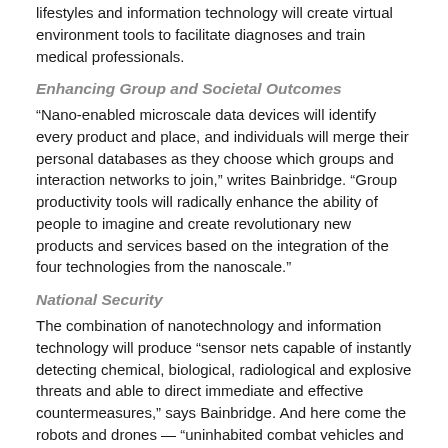lifestyles and information technology will create virtual environment tools to facilitate diagnoses and train medical professionals.
Enhancing Group and Societal Outcomes
“Nano-enabled microscale data devices will identify every product and place, and individuals will merge their personal databases as they choose which groups and interaction networks to join,” writes Bainbridge. “Group productivity tools will radically enhance the ability of people to imagine and create revolutionary new products and services based on the integration of the four technologies from the nanoscale.”
National Security
The combination of nanotechnology and information technology will produce “sensor nets capable of instantly detecting chemical, biological, radiological and explosive threats and able to direct immediate and effective countermeasures,” says Bainbridge. And here come the robots and drones — “uninhabited combat vehicles and human-machine interfaces” will enhance both attack